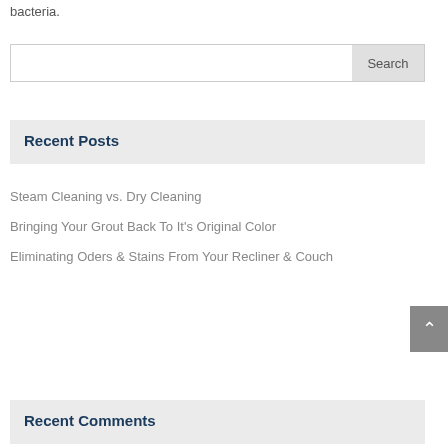bacteria.
[Figure (screenshot): Search bar with text input and Search button]
Recent Posts
Steam Cleaning vs. Dry Cleaning
Bringing Your Grout Back To It's Original Color
Eliminating Oders & Stains From Your Recliner & Couch
Recent Comments